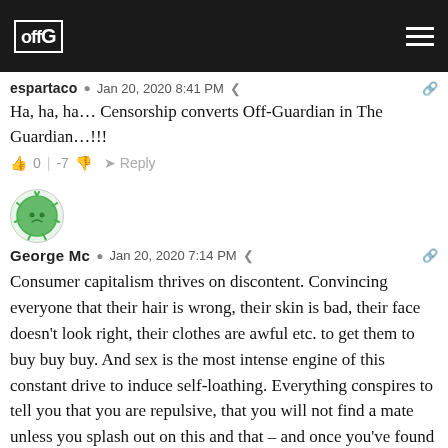Off-Guardian logo and navigation
espartaco  Jan 20, 2020 8:41 PM
Ha, ha, ha... Censorship converts Off-Guardian in The Guardian...!!!
0 | -7  Reply
[Figure (illustration): Green cartoon avatar icon with face, round spiked character]
George Mc  Jan 20, 2020 7:14 PM
Consumer capitalism thrives on discontent. Convincing everyone that their hair is wrong, their skin is bad, their face doesn't look right, their clothes are awful etc. to get them to buy buy buy. And sex is the most intense engine of this constant drive to induce self-loathing. Everything conspires to tell you that you are repulsive, that you will not find a mate unless you splash out on this and that – and once you've found a mate, perhaps he/she isn't really the one for you. The sex you're getting is never as good as